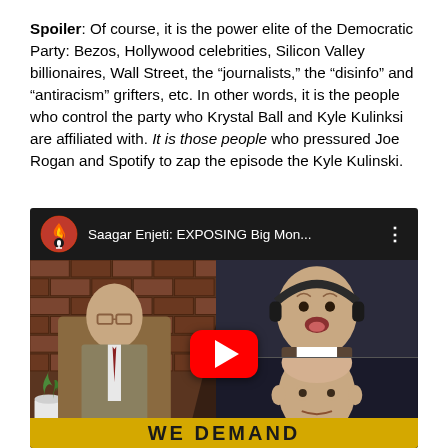Spoiler: Of course, it is the power elite of the Democratic Party: Bezos, Hollywood celebrities, Silicon Valley billionaires, Wall Street, the "journalists," the "disinfo" and "antiracism" grifters, etc. In other words, it is the people who control the party who Krystal Ball and Kyle Kulinksi are affiliated with. It is those people who pressured Joe Rogan and Spotify to zap the episode the Kyle Kulinski.
[Figure (screenshot): YouTube video thumbnail for 'Saagar Enjeti: EXPOSING Big Mon...' showing three people - a man in suit with glasses on left, a man with headphones in center, and a bald man on right. Red YouTube play button overlay. Bottom yellow banner with bold text.]